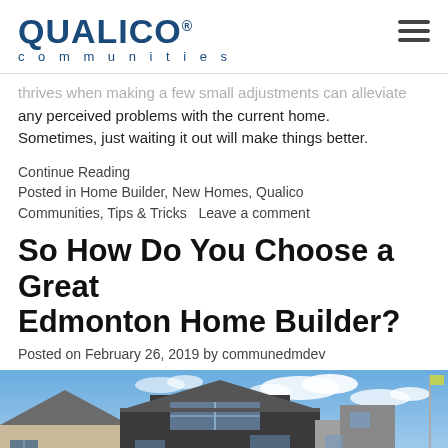QUALICO® communities
...thrives when making a few small adjustments can alleviate any perceived problems with the current home. Sometimes, just waiting it out will make things better.
Continue Reading
Posted in Home Builder, New Homes, Qualico Communities, Tips & Tricks   Leave a comment
So How Do You Choose a Great Edmonton Home Builder?
Posted on February 26, 2019 by communedmdev
[Figure (photo): Exterior photo of modern homes with mixed siding (beige and dark charcoal) under a partly cloudy blue sky, with a flag visible on the right side.]